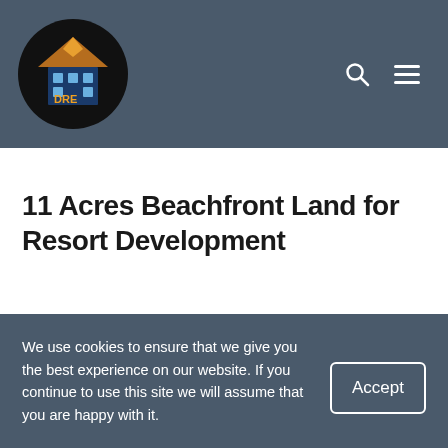[Figure (logo): DRE logo: orange 3D building icon on black circular background]
11 Acres Beachfront Land for Resort Development
FOR SALE
$ 70.000.500
[Figure (photo): Partial view of beachfront aerial or water photo]
We use cookies to ensure that we give you the best experience on our website. If you continue to use this site we will assume that you are happy with it.